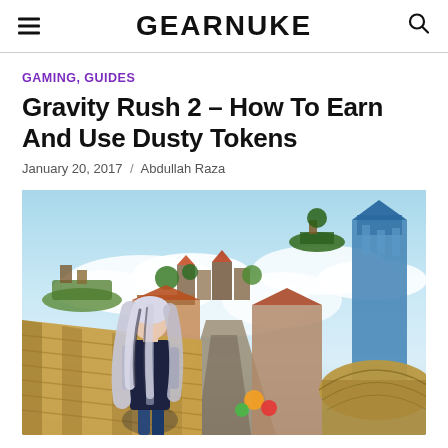GEARNUKE
GAMING, GUIDES
Gravity Rush 2 – How To Earn And Use Dusty Tokens
January 20, 2017 / Abdullah Raza
[Figure (photo): Screenshot from Gravity Rush 2 showing an anime-style white-haired female character from behind, standing on a rooftop overlooking a colorful floating city with clouds and a blue sky.]